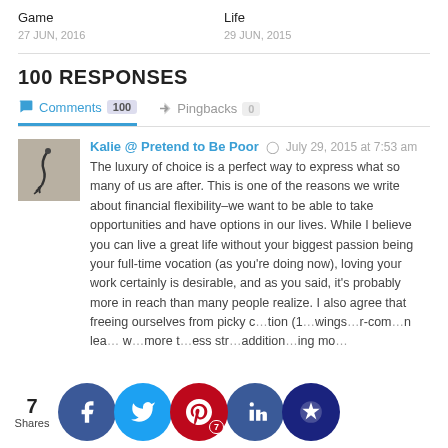Game
Life
27 JUN, 2016
29 JUN, 2015
100 RESPONSES
Comments 100   Pingbacks 0
Kalie @ Pretend to Be Poor  ·  July 29, 2015 at 7:53 am
The luxury of choice is a perfect way to express what so many of us are after. This is one of the reasons we write about financial flexibility–we want to be able to take opportunities and have options in our lives. While I believe you can live a great life without your biggest passion being your full-time vocation (as you're doing now), loving your work certainly is desirable, and as you said, it's probably more in reach than many people realize. I also agree that freeing ourselves from picky c…tion (1…wings…r-com…n lea… w…more t…ess str…addition…ing mo…
7 Shares